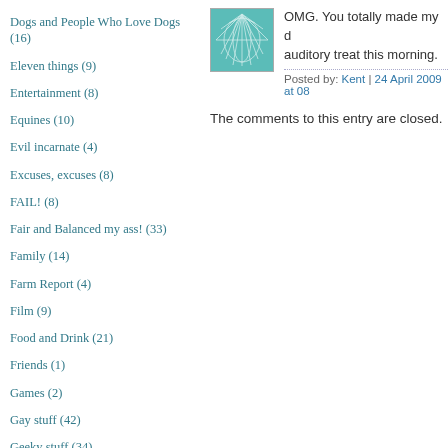Dogs and People Who Love Dogs (16)
Eleven things (9)
Entertainment (8)
Equines (10)
Evil incarnate (4)
Excuses, excuses (8)
FAIL! (8)
Fair and Balanced my ass! (33)
Family (14)
Farm Report (4)
Film (9)
Food and Drink (21)
Friends (1)
Games (2)
Gay stuff (42)
Geeky stuff (34)
Get off my lawn! (10)
OMG. You totally made my d… auditory treat this morning.
Posted by: Kent | 24 April 2009 at 08
The comments to this entry are closed.